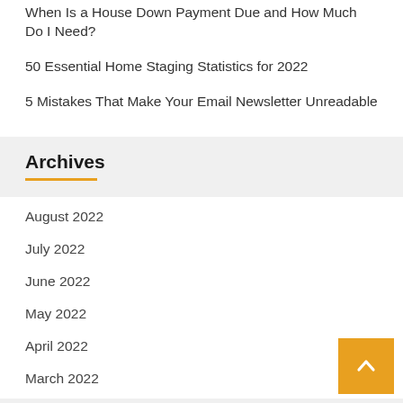When Is a House Down Payment Due and How Much Do I Need?
50 Essential Home Staging Statistics for 2022
5 Mistakes That Make Your Email Newsletter Unreadable
Archives
August 2022
July 2022
June 2022
May 2022
April 2022
March 2022